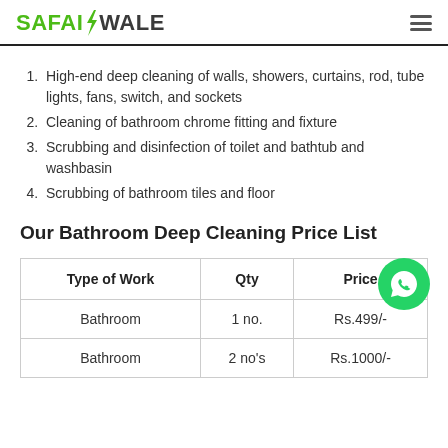SAFAIWALE
High-end deep cleaning of walls, showers, curtains, rod, tube lights, fans, switch, and sockets
Cleaning of bathroom chrome fitting and fixture
Scrubbing and disinfection of toilet and bathtub and washbasin
Scrubbing of bathroom tiles and floor
Our Bathroom Deep Cleaning Price List
| Type of Work | Qty | Price |
| --- | --- | --- |
| Bathroom | 1 no. | Rs.499/- |
| Bathroom | 2 no's | Rs.1000/- |